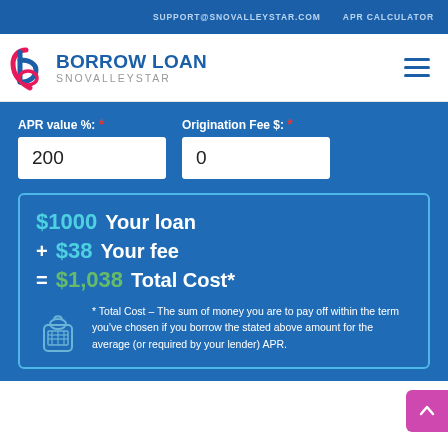SUPPORT@SNOVALLEYSTAR.COM   APR CALCULATOR
[Figure (logo): Borrow Loan Snovalleystar logo with stylized 'b' lettermark in pink/red and blue, company name in blue caps]
APR value %: * [input: 200]   Origination Fee $: * [input: 0]
$1000 Your loan
+ $38 Your fee
= $1,038 Total Cost*
* Total Cost – The sum of money you are to pay off within the term you've chosen if you borrow the stated above amount for the average (or required by your lender) APR.